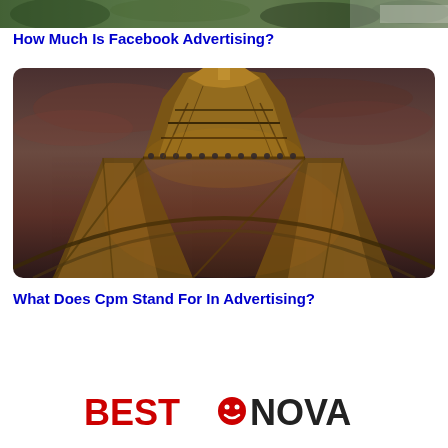[Figure (photo): Partial cropped image at top of page, appears to be a nature/outdoor scene with dark tones]
How Much Is Facebook Advertising?
[Figure (photo): Night photograph of the Eiffel Tower in Paris, shot from below looking up, showing lattice ironwork structure illuminated against a dramatic purple-brown sky]
What Does Cpm Stand For In Advertising?
[Figure (logo): BEST NOVA logo with red and dark text and a small smiley face icon between BEST and NOVA]